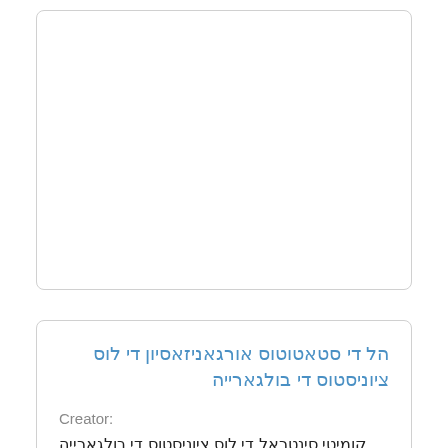[Figure (other): Empty white card/box region at the top of the page]
הל די סטאטוטוס אורגאניזאסיון די לוס ציוניסטוס די בולגארייה
Creator:
קומיטי סינטראל די לוס ציוניסטוס די בולגארייה Komite Sentral de los Tsionistos de Bulgarya Областенъ комитетъ на сиониститѣ въ България Oblasten komitet na sionistite v Bălgarija Oblasten komitet na sionistitye vŭ Bŭlgariya